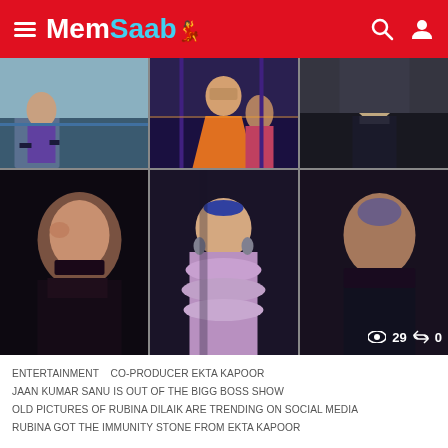MemSaab
[Figure (photo): 6-panel image collage: top row shows 3 photos from a TV show set (people in colorful outfits on stage), bottom row shows 3 photos of women, including a woman in a purple ruffled outfit in the center. Bottom-right panel shows eye icon 29, share icon 0.]
ENTERTAINMENT   CO-PRODUCER EKTA KAPOOR
JAAN KUMAR SANU IS OUT OF THE BIGG BOSS SHOW
OLD PICTURES OF RUBINA DILAIK ARE TRENDING ON SOCIAL MEDIA
RUBINA GOT THE IMMUNITY STONE FROM EKTA KAPOOR
Jaan Kumar Sanu Exits BB14, Rubina Given An Extra Week with A Stone!
by  Joydev Mishra